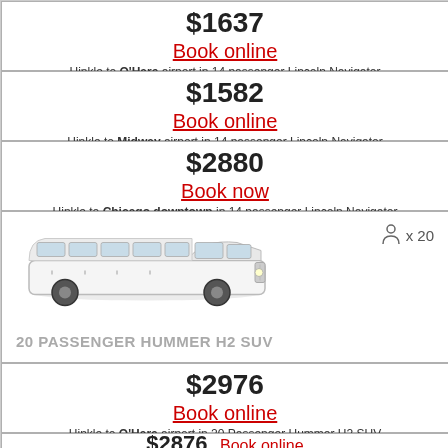$1637
Book online
Hinkle to O'Hare airport in 14 passenger Lincoln Navigator
$1582
Book online
Hinkle to Midway airport in 14 passenger Lincoln Navigator
$2880
Book now
Hinkle to Chicago downtown in 14 passenger Lincoln Navigator
[Figure (photo): White 20 passenger Hummer H2 SUV stretch limousine, with capacity icon showing x20 passengers. Label reads: 20 PASSENGER HUMMER H2 SUV]
$2976
Book online
Hinkle to O'Hare airport in 20 Passenger Hummer H2 SUV
$2876
Book online